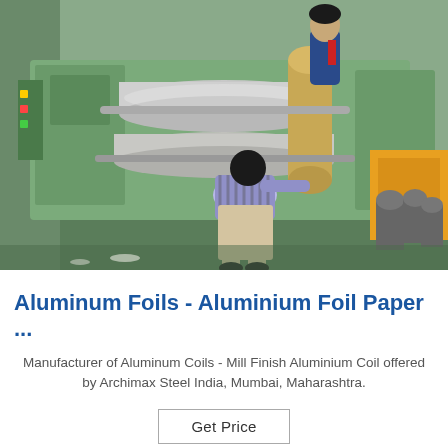[Figure (photo): Factory floor photo showing two workers operating a large industrial metal foil rolling/slitting machine with green painted casing. One worker in striped top bends over the machine while another stands behind. The machine has large cylindrical rollers. Floor is green-painted concrete.]
Aluminum Foils - Aluminium Foil Paper ...
Manufacturer of Aluminum Coils - Mill Finish Aluminium Coil offered by Archimax Steel India, Mumbai, Maharashtra.
Get Price